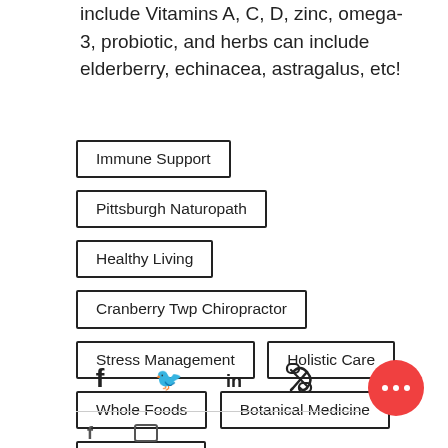include Vitamins A, C, D, zinc, omega-3, probiotic, and herbs can include elderberry, echinacea, astragalus, etc!
Immune Support
Pittsburgh Naturopath
Healthy Living
Cranberry Twp Chiropractor
Stress Management
Holistic Care
Whole Foods
Botanical Medicine
Supplements
[Figure (infographic): Social share icons: Facebook, Twitter, LinkedIn, link/chain icon, and a red circular more-options button with three dots]